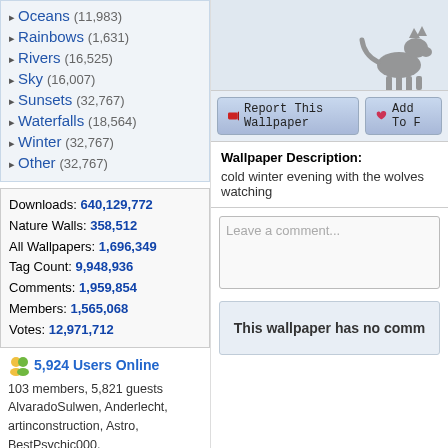Oceans (11,983)
Rainbows (1,631)
Rivers (16,525)
Sky (16,007)
Sunsets (32,767)
Waterfalls (18,564)
Winter (32,767)
Other (32,767)
Downloads: 640,129,772
Nature Walls: 358,512
All Wallpapers: 1,696,349
Tag Count: 9,948,936
Comments: 1,959,854
Members: 1,565,068
Votes: 12,971,712
5,924 Users Online
103 members, 5,821 guests
AlvaradoSulwen, Anderlecht, artinconstruction, Astro, BestPsychic000, bmpressurewashing2, Boatent98, boliou, brandbajade, bridgecounseling, brighterfinance, CarrollDentistry, cell-phone-hacking, chatonfragile, Cleaners567, ColbyRichardson, cortez68341, crypticpixelseo, cupidc657, deborahhinkley, doyleplumbinggroup, driverjoe, duanvinhomescom, dubmovie, enailvietnam, erahobb,
[Figure (illustration): Wolf silhouette illustration on light blue background]
Report This Wallpaper
Add To F
Wallpaper Description:
cold winter evening with the wolves watching
Leave a comment...
This wallpaper has no comm